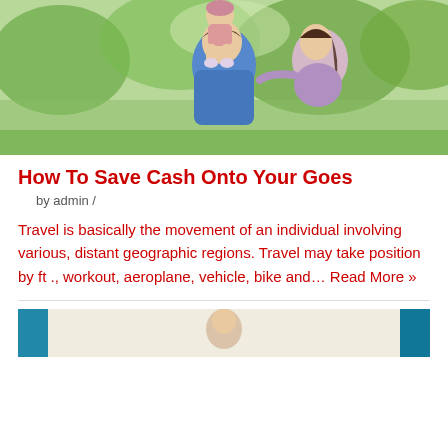[Figure (photo): Family photo outdoors: man in blue shirt carrying child on shoulders, woman in purple hugging him, green trees in background]
How To Save Cash Onto Your Goes
by admin /
Travel is basically the movement of an individual involving various, distant geographic regions. Travel may take position by ft ., workout, aeroplane, vehicle, bike and… Read More »
[Figure (photo): Partial view of second article image — person partially visible at bottom of page]